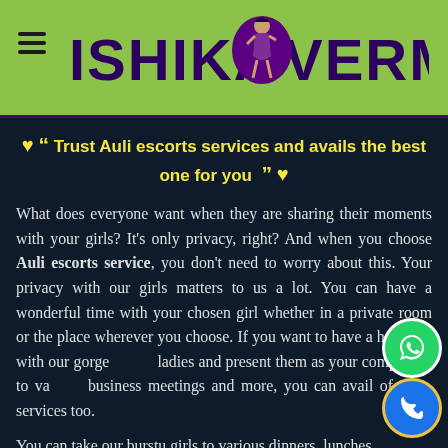ISHIKA VERMA (logo with figure illustration)
❤ ““ Trust Auli escorts services and avails the best one for you ”” ❤
What does everyone want when they are sharing their moments with your girls? It's only privacy, right? And when you choose Auli escorts service, you don't need to worry about this. Your privacy with our girls matters to us a lot. You can have a wonderful time with your chosen girl whether in a private room or the place wherever you choose. If you want to have a hang out with our gorgeous ladies and present them as your companion to various business meetings and more, you can avail of these services too.
You can take our burstu girls to various dinners, lunches